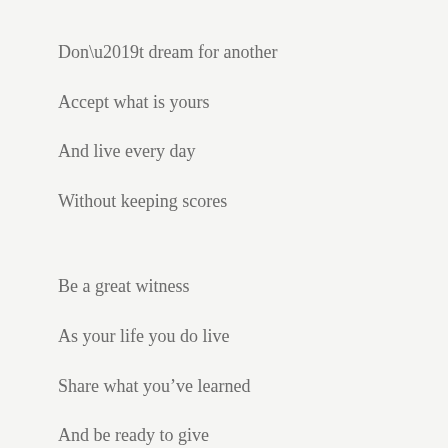Don’t dream for another
Accept what is yours
And live every day
Without keeping scores
Be a great witness
As your life you do live
Share what you’ve learned
And be ready to give